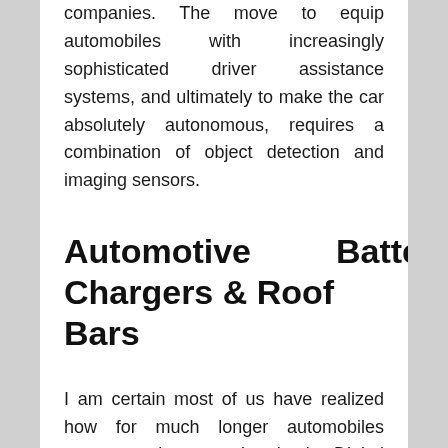companies. The move to equip automobiles with increasingly sophisticated driver assistance systems, and ultimately to make the car absolutely autonomous, requires a combination of object detection and imaging sensors.
Automotive Battery Chargers & Roof Bars
I am certain most of us have realized how for much longer automobiles appear to be operating lately. Digital know-how is clearly changing the way in which OEMs and suppliers will engage with industrial and personal automobile owners, in flip